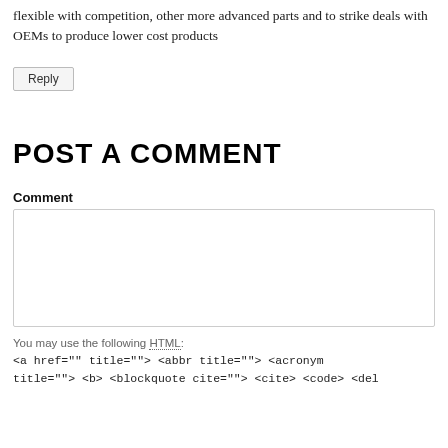flexible with competition, other more advanced parts and to strike deals with OEMs to produce lower cost products
Reply
POST A COMMENT
Comment
You may use the following HTML:
<a href="" title=""> <abbr title=""> <acronym title=""> <b> <blockquote cite=""> <cite> <code> <del datetime=""> <em> <i> <q cite=""> <strike> <strong>